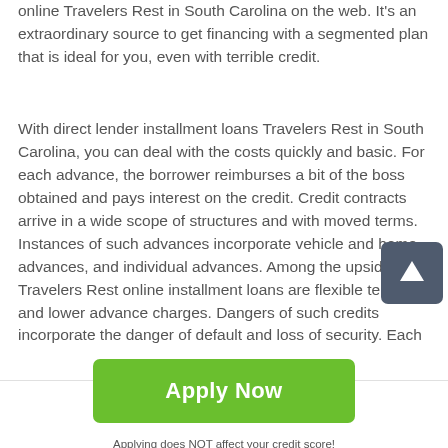online Travelers Rest in South Carolina on the web. It's an extraordinary source to get financing with a segmented plan that is ideal for you, even with terrible credit.
With direct lender installment loans Travelers Rest in South Carolina, you can deal with the costs quickly and basic. For each advance, the borrower reimburses a bit of the boss obtained and pays interest on the credit. Credit contracts arrive in a wide scope of structures and with moved terms. Instances of such advances incorporate vehicle and home advances, and individual advances. Among the upsides of Travelers Rest online installment loans are flexible terms and lower advance charges. Dangers of such credits incorporate the danger of default and loss of security. Each
[Figure (other): Scroll-to-top button: dark grey rounded square with white upward arrow]
Apply Now
Applying does NOT affect your credit score!
No credit check to apply.